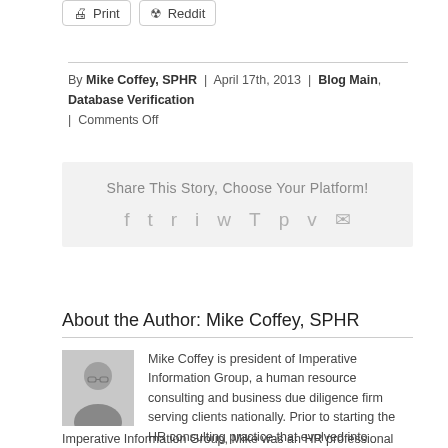[Figure (screenshot): Social share buttons: Print and Reddit buttons with icons]
By Mike Coffey, SPHR | April 17th, 2013 | Blog Main, Database Verification | Comments Off
[Figure (infographic): Share This Story, Choose Your Platform! with social media icons: Facebook, Twitter, Reddit, LinkedIn, WhatsApp, Tumblr, Pinterest, Vk, Email]
About the Author: Mike Coffey, SPHR
[Figure (photo): Photo of Mike Coffey, a man wearing glasses and a suit]
Mike Coffey is president of Imperative Information Group, a human resource consulting and business due diligence firm serving clients nationally. Prior to starting the HR consulting practice that evolved into Imperative Information Group, Mike was an HR professional with